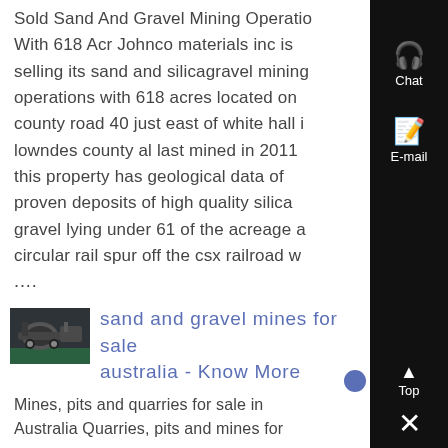Sold Sand And Gravel Mining Operations With 618 Acr Johnco materials inc is selling its sand and silicagravel mining operations with 618 acres located on county road 40 just east of white hall in lowndes county al last mined in 2011 this property has geological data of proven deposits of high quality silica gravel lying under 61 of the acreage a circular rail spur off the csx railroad w ....
[Figure (photo): Thumbnail photo of industrial mining or machinery equipment, dark tones with green floor]
sand and gravel mines for sale australia - Know More
Mines, pits and quarries for sale in Australia Quarries, pits and mines for